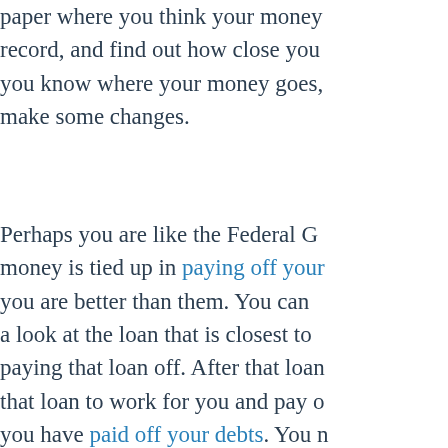paper where you think your money record, and find out how close you you know where your money goes, make some changes.
Perhaps you are like the Federal G money is tied up in paying off your you are better than them. You can a look at the loan that is closest to paying that loan off. After that loan that loan to work for you and pay o you have paid off your debts. You mindset. Think positively about how debts paid off. Visualize yourself be happen. Another suggestion is to g These are what may be causing yo have a credit card, then get rid of a carefully how you use that one card